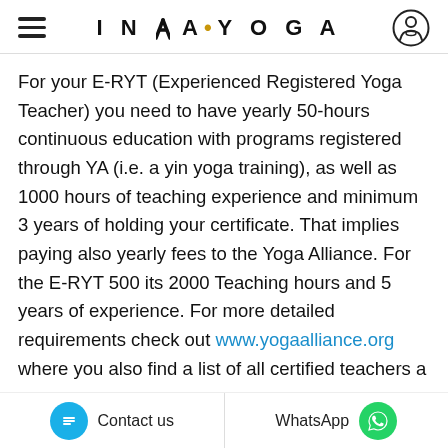INEA·YOGA
For your E-RYT (Experienced Registered Yoga Teacher) you need to have yearly 50-hours continuous education with programs registered through YA (i.e. a yin yoga training), as well as 1000 hours of teaching experience and minimum 3 years of holding your certificate. That implies paying also yearly fees to the Yoga Alliance. For the E-RYT 500 its 2000 Teaching hours and 5 years of experience. For more detailed requirements check out www.yogaalliance.org where you also find a list of all certified teachers a
Contact us | WhatsApp